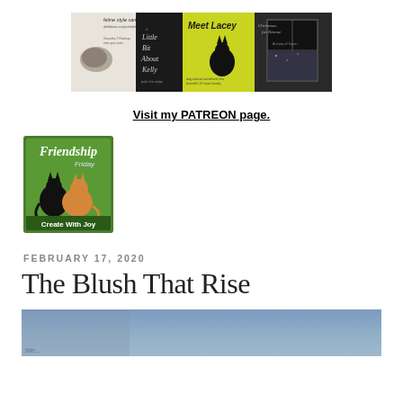[Figure (illustration): Banner image showing a collage of book covers featuring cats and feline-themed books including 'feline style sampler', 'A Little Bit About Kelly', 'Meet Lacey', and 'Christmas for Rescue']
Visit my PATREON page.
[Figure (logo): Friendship Friday badge - green background with black and orange cats, text reads 'Friendship Friday' and 'Create With Joy']
FEBRUARY 17, 2020
The Blush That Rise
[Figure (photo): Partial photo showing a blue-grey sky, appears to be the beginning of a blog post image]